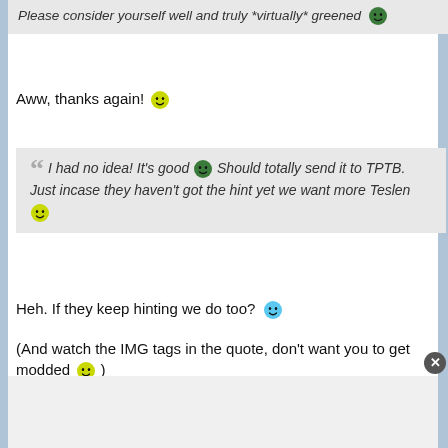Please consider yourself well and truly *virtually* greened 😁
Aww, thanks again! 😊
❝ I had no idea! It's good 😁 Should totally send it to TPTB. Just incase they haven't got the hint yet we want more Teslen 😊
Heh. If they keep hinting we do too? 😊
(And watch the IMG tags in the quote, don't want you to get modded 😊 )
Being original is difficult when you can't stop quoting your favorite tv show, For crying out loud!